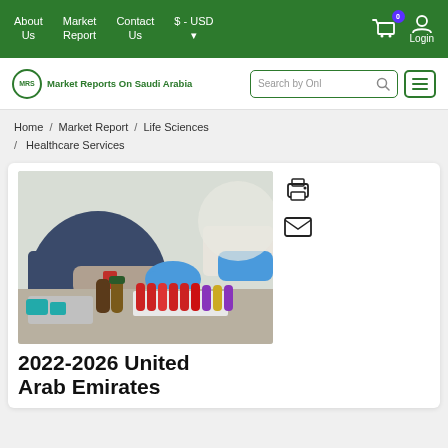About Us | Market Report | Contact Us | $ - USD | Login
[Figure (logo): Market Reports On Saudi Arabia logo with search bar and menu button]
Home / Market Report / Life Sciences / Healthcare Services
[Figure (photo): Healthcare laboratory photo showing a person drawing blood with test tubes and medical vials in the foreground]
2022-2026 United Arab Emirates